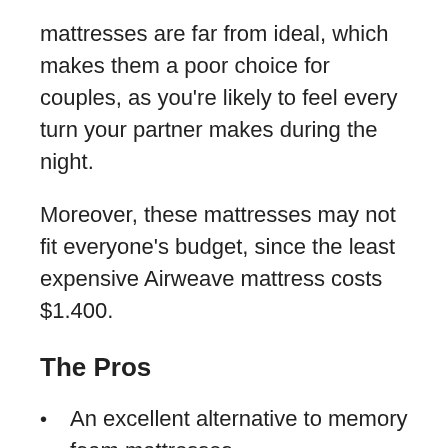mattresses are far from ideal, which makes them a poor choice for couples, as you're likely to feel every turn your partner makes during the night.
Moreover, these mattresses may not fit everyone's budget, since the least expensive Airweave mattress costs $1.400.
The Pros
An excellent alternative to memory foam mattresses
The core of the Airweave mattress is made of Airfiber®
Industry-leading cooling features